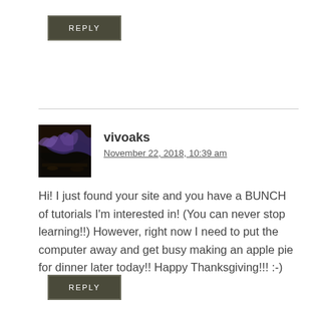REPLY
vivoaks
November 22, 2018, 10:39 am
Hi! I just found your site and you have a BUNCH of tutorials I'm interested in! (You can never stop learning!!) However, right now I need to put the computer away and get busy making an apple pie for dinner later today!! Happy Thanksgiving!!! :-)
REPLY